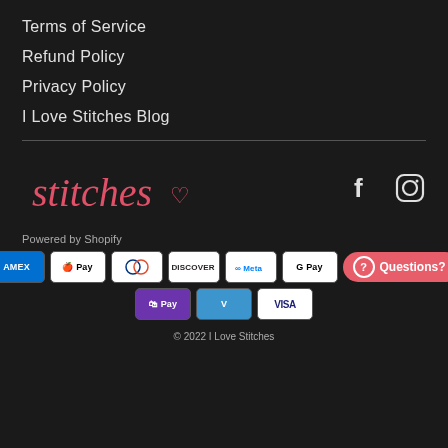Terms of Service
Refund Policy
Privacy Policy
I Love Stitches Blog
[Figure (logo): Stitches cursive script logo in coral/red color with a small heart]
[Figure (other): Social media icons: Facebook and Instagram in white]
Powered by Shopify
[Figure (other): Payment method badges: AMEX, Apple Pay, Diners Club, Discover, Meta Pay, Google Pay in first row; Shop Pay, Venmo, Visa in second row. Questions button in coral.]
© 2022 I Love Stitches